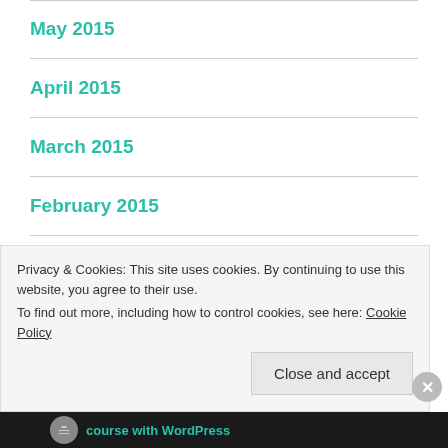May 2015
April 2015
March 2015
February 2015
January 2015
December 2014
Privacy & Cookies: This site uses cookies. By continuing to use this website, you agree to their use.
To find out more, including how to control cookies, see here: Cookie Policy
Close and accept
course with WordPress